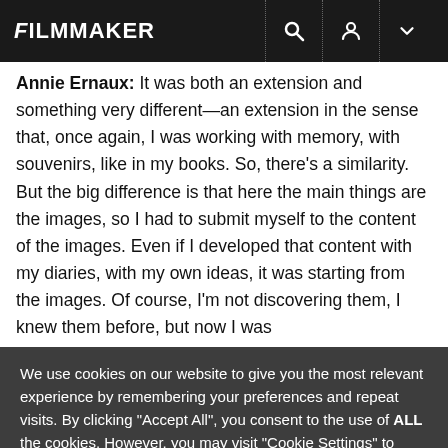FILMMAKER
Annie Ernaux: It was both an extension and something very different—an extension in the sense that, once again, I was working with memory, with souvenirs, like in my books. So, there's a similarity. But the big difference is that here the main things are the images, so I had to submit myself to the content of the images. Even if I developed that content with my diaries, with my own ideas, it was starting from the images. Of course, I'm not discovering them, I knew them before, but now I was
We use cookies on our website to give you the most relevant experience by remembering your preferences and repeat visits. By clicking "Accept All", you consent to the use of ALL the cookies. However, you may visit "Cookie Settings" to provide a controlled consent.
Cookie Settings | Accept All